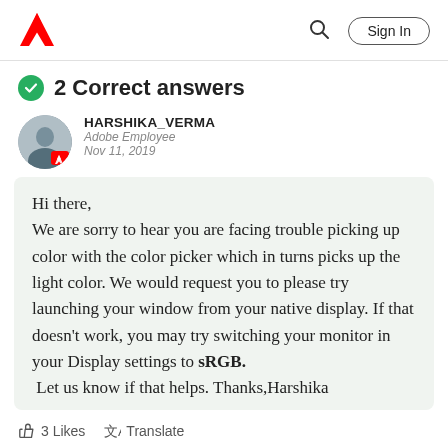Adobe community page header with logo, search, and Sign In button
2 Correct answers
HARSHIKA_VERMA
Adobe Employee
Nov 11, 2019
Hi there,
We are sorry to hear you are facing trouble picking up color with the color picker which in turns picks up the light color. We would request you to please try launching your window from your native display. If that doesn't work, you may try switching your monitor in your Display settings to sRGB. Let us know if that helps. Thanks,Harshika
3 Likes   Translate